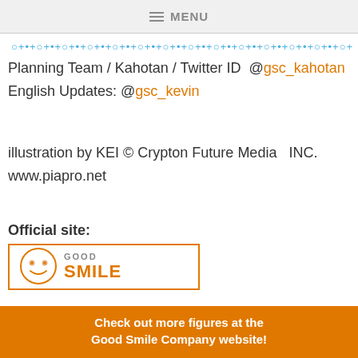≡ MENU
○+•+○+•+○+•+○+•+○+•+○+•+○+•+○+•+○+•+○+•+○+•+○+•+○+•+○+•+○+•+
Planning Team / Kahotan / Twitter ID  @gsc_kahotan
English Updates: @gsc_kevin
illustration by KEI © Crypton Future Media   INC.
www.piapro.net
Official site:
[Figure (logo): Good Smile Company logo — orange bordered box with a smiley face icon on the left and GOOD in grey with SMILE in orange on the right]
Check out more figures at the Good Smile Company website!